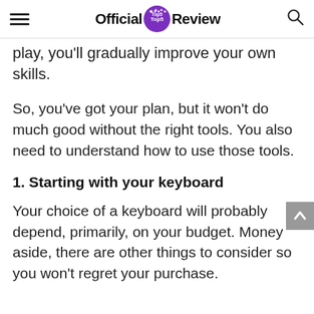Official Top5 Review
play, you'll gradually improve your own skills.
So, you've got your plan, but it won't do much good without the right tools. You also need to understand how to use those tools.
1. Starting with your keyboard
Your choice of a keyboard will probably depend, primarily, on your budget. Money aside, there are other things to consider so you won't regret your purchase.